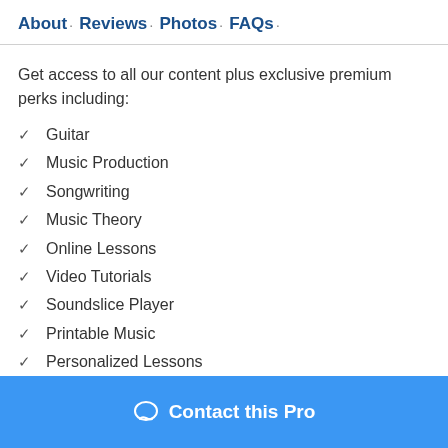About · Reviews · Photos · FAQs ·
Get access to all our content plus exclusive premium perks including:
Guitar
Music Production
Songwriting
Music Theory
Online Lessons
Video Tutorials
Soundslice Player
Printable Music
Personalized Lessons
Contact this Pro